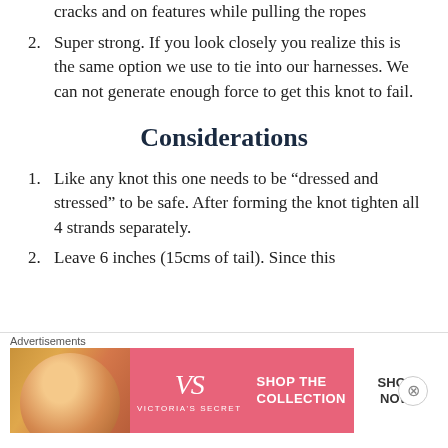cracks and on features while pulling the ropes
2. Super strong. If you look closely you realize this is the same option we use to tie into our harnesses. We can not generate enough force to get this knot to fail.
Considerations
1. Like any knot this one needs to be “dressed and stressed” to be safe. After forming the knot tighten all 4 strands separately.
2. Leave 6 inches (15cms of tail). Since this
[Figure (other): Victoria's Secret advertisement banner with model photo, VS logo, 'SHOP THE COLLECTION' text, and 'SHOP NOW' button]